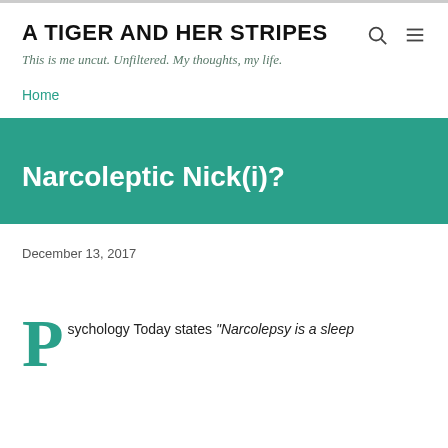A TIGER AND HER STRIPES
This is me uncut. Unfiltered. My thoughts, my life.
Home
Narcoleptic Nick(i)?
December 13, 2017
sychology Today states "Narcolepsy is a sleep